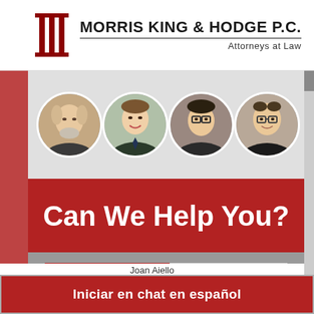[Figure (logo): Morris King & Hodge P.C. law firm logo with red pillar/column icon]
MORRIS KING & HODGE P.C. Attorneys at Law
[Figure (photo): Four circular headshot photos of attorneys side by side]
Can We Help You?
YES
NO
Iniciar en chat en español